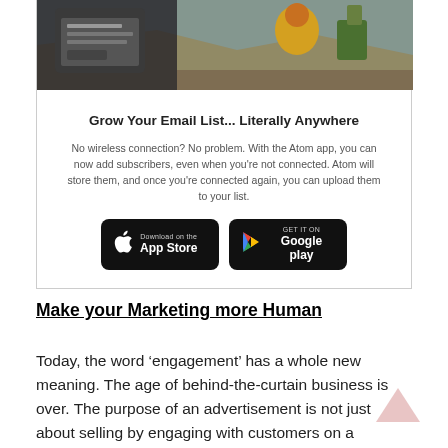[Figure (photo): Top portion of a card/box showing a composite image of a smartphone app screen and an outdoor climbing/camping scene with colorful clothing.]
Grow Your Email List... Literally Anywhere
No wireless connection? No problem. With the Atom app, you can now add subscribers, even when you're not connected. Atom will store them, and once you're connected again, you can upload them to your list.
[Figure (screenshot): Two app store download buttons: 'Download on the App Store' (Apple) and 'GET IT ON Google play' (Google Play), both with black rounded-rectangle backgrounds.]
Make your Marketing more Human
Today, the word ‘engagement’ has a whole new meaning. The age of behind-the-curtain business is over. The purpose of an advertisement is not just about selling by engaging with customers on a more personal level. If you never present the